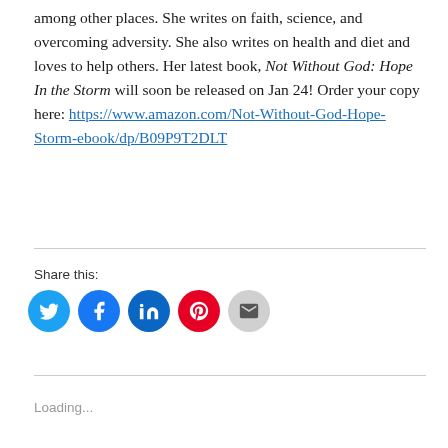among other places. She writes on faith, science, and overcoming adversity. She also writes on health and diet and loves to help others. Her latest book, Not Without God: Hope In the Storm will soon be released on Jan 24! Order your copy here: https://www.amazon.com/Not-Without-God-Hope-Storm-ebook/dp/B09P9T2DLT
Share this:
[Figure (infographic): Social share buttons: Twitter (blue circle with bird icon), Facebook (blue circle with f icon), LinkedIn (dark blue circle with in icon), Pinterest (red circle with P icon), Email (grey circle with envelope icon)]
Loading...